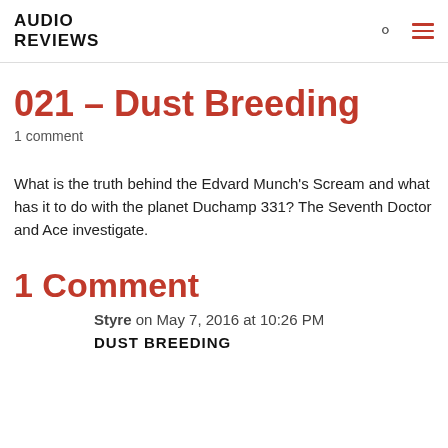AUDIO REVIEWS
021 – Dust Breeding
1 comment
What is the truth behind the Edvard Munch's Scream and what has it to do with the planet Duchamp 331? The Seventh Doctor and Ace investigate.
1 Comment
Styre on May 7, 2016 at 10:26 PM
DUST BREEDING